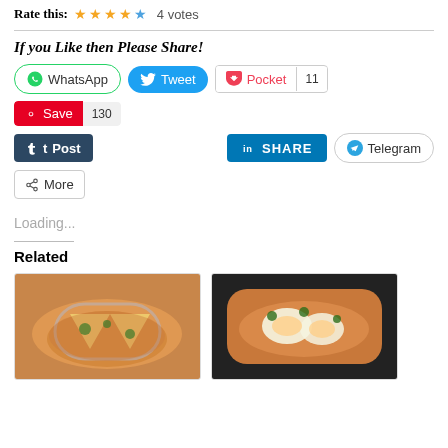Rate this: ★★★★☆ 4 votes
If you Like then Please Share!
[Figure (screenshot): Social share buttons: WhatsApp, Tweet, Pocket (11), Save (130), Post (Tumblr), LinkedIn SHARE, Telegram, More]
Loading...
Related
[Figure (photo): Food photo: paneer curry in a bowl]
[Figure (photo): Food photo: egg curry in a bowl]